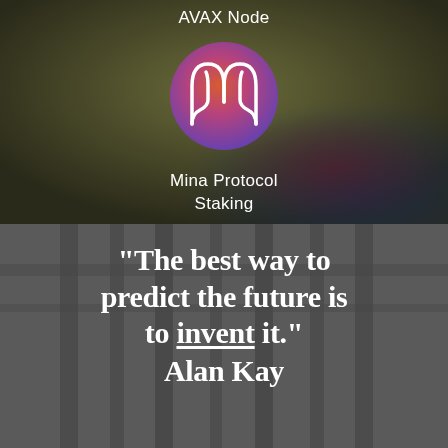[Figure (screenshot): Dark olive/khaki blurred background showing a mobile app UI. At top, text reads 'AVAX Node'. Below is a circular gradient icon (orange to purple) with a stylized 'M' logo for Mina Protocol. Below the icon text reads 'Mina Protocol Staking'.]
AVAX Node
Mina Protocol
Staking
[Figure (photo): Dark grey architectural background with vertical structural elements/pillars. Overlaid in white bold serif text: '"The best way to predict the future is to invent it." Alan Kay']
"The best way to predict the future is to invent it." Alan Kay